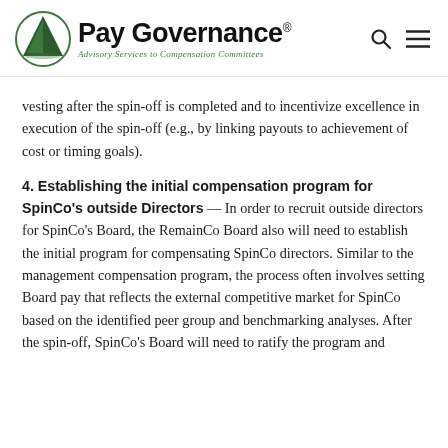Pay Governance — Advisory Services to Compensation Committees
vesting after the spin-off is completed and to incentivize excellence in execution of the spin-off (e.g., by linking payouts to achievement of cost or timing goals).
4. Establishing the initial compensation program for SpinCo's outside Directors — In order to recruit outside directors for SpinCo's Board, the RemainCo Board also will need to establish the initial program for compensating SpinCo directors. Similar to the management compensation program, the process often involves setting Board pay that reflects the external competitive market for SpinCo based on the identified peer group and benchmarking analyses. After the spin-off, SpinCo's Board will need to ratify the program and